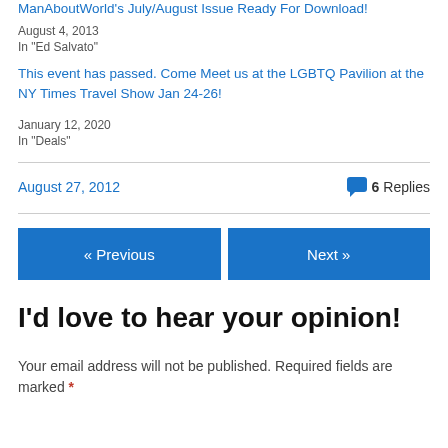ManAboutWorld's July/August Issue Ready For Download!
August 4, 2013
In "Ed Salvato"
This event has passed. Come Meet us at the LGBTQ Pavilion at the NY Times Travel Show Jan 24-26!
January 12, 2020
In "Deals"
August 27, 2012
6 Replies
« Previous
Next »
I'd love to hear your opinion!
Your email address will not be published. Required fields are marked *